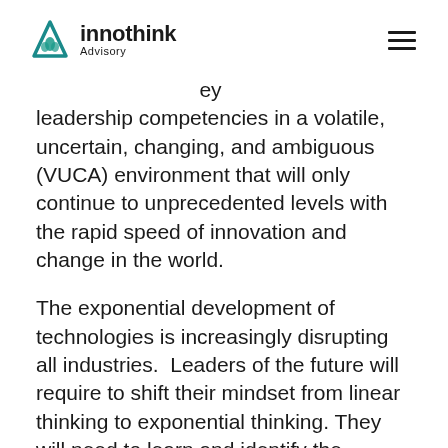innothink Advisory
…ey leadership competencies in a volatile, uncertain, changing, and ambiguous (VUCA) environment that will only continue to unprecedented levels with the rapid speed of innovation and change in the world.
The exponential development of technologies is increasingly disrupting all industries.  Leaders of the future will require to shift their mindset from linear thinking to exponential thinking. They will need to learn and identify the implications of exponential technologies so that they can implement disruptive business models